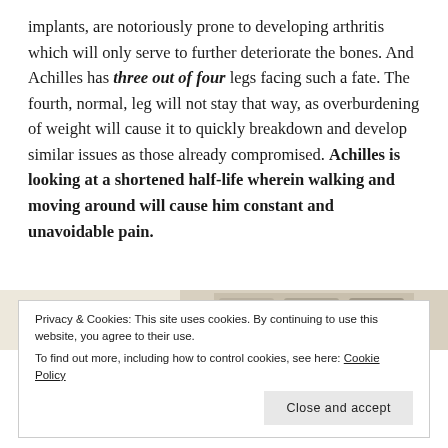implants, are notoriously prone to developing arthritis which will only serve to further deteriorate the bones. And Achilles has three out of four legs facing such a fate. The fourth, normal, leg will not stay that way, as overburdening of weight will cause it to quickly breakdown and develop similar issues as those already compromised. Achilles is looking at a shortened half-life wherein walking and moving around will cause him constant and unavoidable pain.
[Figure (photo): Partial image strip showing what appears to be food/recipe images on a light background]
Privacy & Cookies: This site uses cookies. By continuing to use this website, you agree to their use.
To find out more, including how to control cookies, see here: Cookie Policy
Close and accept